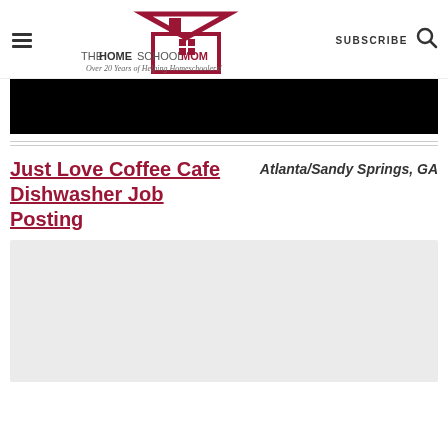THE HOMESCHOOL MOM — Over 20 Years of Helping Homeschoolers! | SUBSCRIBE
[Figure (other): Black banner advertisement area]
Just Love Coffee Cafe Dishwasher Job Posting
Atlanta/Sandy Springs, GA
[Figure (other): Gray content/advertisement placeholder box]